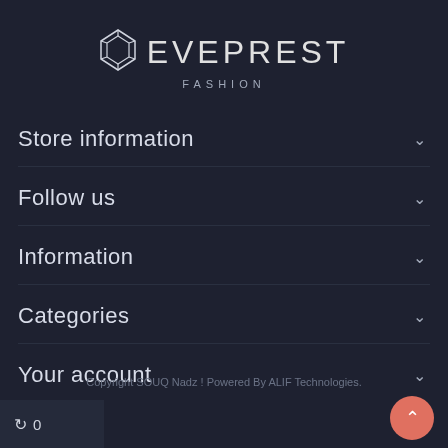[Figure (logo): Eveprest Fashion logo with diamond/gem icon and text EVEPREST FASHION]
Store information
Follow us
Information
Categories
Your account
Copyright SOUQ Nadz ! Powered By ALIF Technologies.